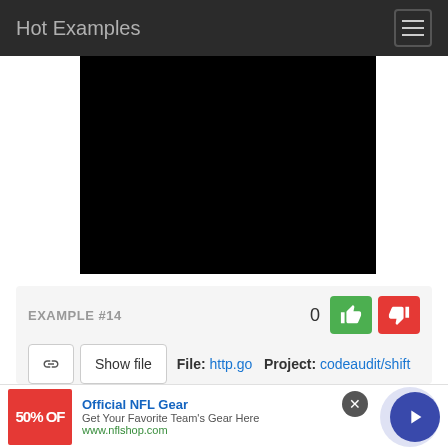Hot Examples
[Figure (screenshot): Black rectangle representing a code example output or video frame]
EXAMPLE #14
0
Show file   File: http.go   Project: codeaudit/shift
[Figure (infographic): Advertisement banner: Official NFL Gear — Get Your Favorite Team's Gear Here, www.nflshop.com, 50% OFF, with arrow button]